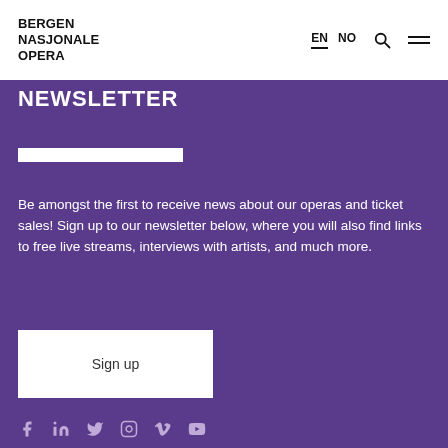Bergen Nasjonale Opera — EN / NO navigation header
NEWSLETTER
Be amongst the first to receive news about our operas and ticket sales! Sign up to our newsletter below, where you will also find links to free live streams, interviews with artists, and much more.
Sign up